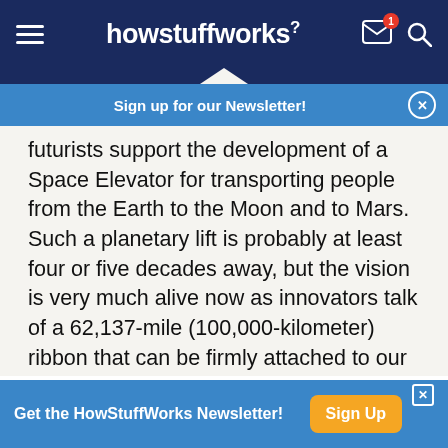howstuffworks
Sign up for our Newsletter!
futurists support the development of a Space Elevator for transporting people from the Earth to the Moon and to Mars. Such a planetary lift is probably at least four or five decades away, but the vision is very much alive now as innovators talk of a 62,137-mile (100,000-kilometer) ribbon that can be firmly attached to our home planet and extended to an anchor station in outer space. We will simply ascend on a high-tech thread into the deep beyond
Get the HowStuffWorks Newsletter!